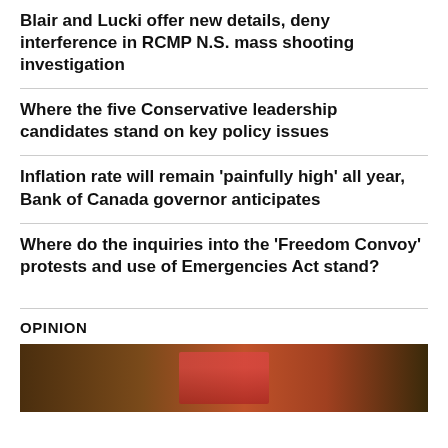Blair and Lucki offer new details, deny interference in RCMP N.S. mass shooting investigation
Where the five Conservative leadership candidates stand on key policy issues
Inflation rate will remain 'painfully high' all year, Bank of Canada governor anticipates
Where do the inquiries into the 'Freedom Convoy' protests and use of Emergencies Act stand?
OPINION
[Figure (photo): Photo related to Opinion section showing a person on screen or in a room with a Canadian flag visible]